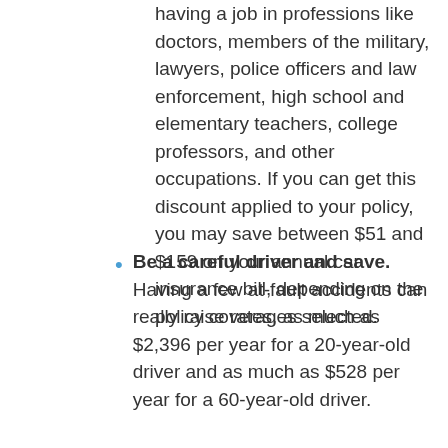having a job in professions like doctors, members of the military, lawyers, police officers and law enforcement, high school and elementary teachers, college professors, and other occupations. If you can get this discount applied to your policy, you may save between $51 and $159 on your annual car insurance bill, depending on the policy coverages selected.
Be a careful driver and save. Having a few at-fault accidents can really raise rates, as much as $2,396 per year for a 20-year-old driver and as much as $528 per year for a 60-year-old driver.